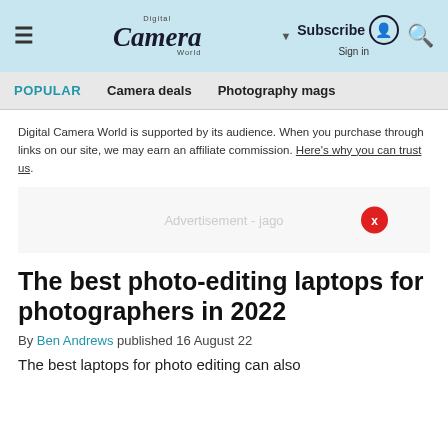Digital Camera World | Subscribe | Sign in
POPULAR   Camera deals   Photography mags
Digital Camera World is supported by its audience. When you purchase through links on our site, we may earn an affiliate commission. Here's why you can trust us.
[Figure (other): Advertisement banner with close button (red circle with X)]
The best photo-editing laptops for photographers in 2022
By Ben Andrews published 16 August 22
The best laptops for photo editing can also